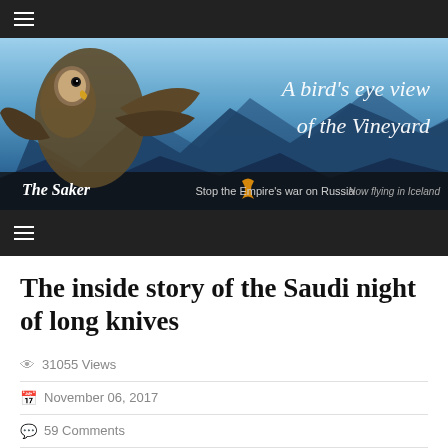[Figure (screenshot): Website header banner for 'The Saker' blog showing a falcon/hawk with spread wings against a mountain and blue sky background. Text reads 'A bird's eye view of the Vineyard'. Bottom bar shows 'The Saker' with an orange ribbon, 'Stop the Empire's war on Russia', and 'Now flying in Iceland'.]
The inside story of the Saudi night of long knives
31055 Views
November 06, 2017
59 Comments
Princes, ministers and a billionaire are 'imprisoned' in the Riyadh Ritz-Carlton while the Saudi Arabian Army is said to be in an